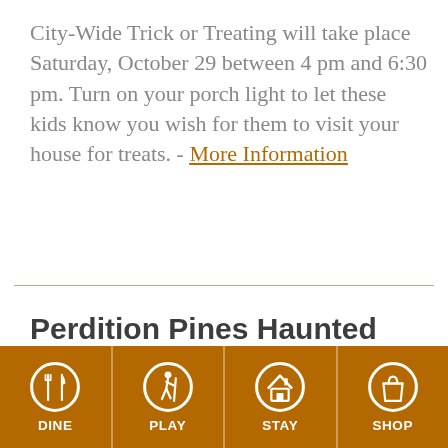City-Wide Trick or Treating will take place Saturday, October 29 between 4 pm and 6:30 pm. Turn on your porch light to let these kids know you wish for them to visit your house for treats. - More Information
Perdition Pines Haunted Event
[Figure (infographic): Footer navigation bar with four icons on brown/amber background: DINE (fork and spoon in circle), PLAY (hiker with staff in circle), STAY (house in circle), SHOP (shopping bag in circle)]